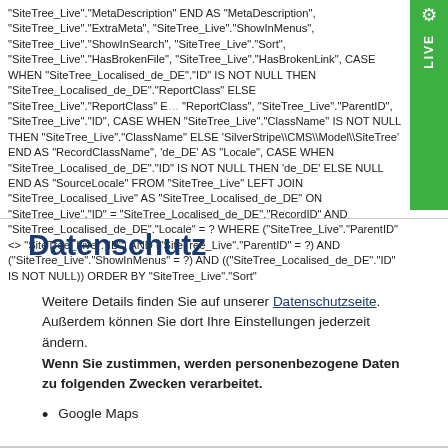"SiteTree_Live"."MetaDescription" END AS "MetaDescription", "SiteTree_Live"."ExtraMeta", "SiteTree_Live"."ShowInMenus", "SiteTree_Live"."ShowInSearch", "SiteTree_Live"."Sort", "SiteTree_Live"."HasBrokenFile", "SiteTree_Live"."HasBrokenLink", CASE WHEN "SiteTree_Localised_de_DE"."ID" IS NOT NULL THEN "SiteTree_Localised_de_DE"."ReportClass" ELSE "SiteTree_Live"."ReportClass" END AS "ReportClass", "SiteTree_Live"."ParentID", "SiteTree_Live"."ID", CASE WHEN "SiteTree_Live"."ClassName" IS NOT NULL THEN "SiteTree_Live"."ClassName" ELSE 'SilverStripe\\CMS\\Model\\SiteTree' END AS "RecordClassName", 'de_DE' AS "Locale", CASE WHEN "SiteTree_Localised_de_DE"."ID" IS NOT NULL THEN 'de_DE' ELSE NULL END AS "SourceLocale" FROM "SiteTree_Live" LEFT JOIN "SiteTree_Localised_Live" AS "SiteTree_Localised_de_DE" ON "SiteTree_Live"."ID" = "SiteTree_Localised_de_DE"."RecordID" AND "SiteTree_Localised_de_DE"."Locale" = ? WHERE ("SiteTree_Live"."ParentID" <> "SiteTree_Live"."ID") AND ("SiteTree_Live"."ParentID" = ?) AND ("SiteTree_Live"."ShowInMenus" = ?) AND (("SiteTree_Localised_de_DE"."ID" IS NOT NULL)) ORDER BY "SiteTree_Live"."Sort"
Datenschutz
Weitere Details finden Sie auf unserer Datenschutzseite. Außerdem können Sie dort Ihre Einstellungen jederzeit ändern.
Wenn Sie zustimmen, werden personenbezogene Daten zu folgenden Zwecken verarbeitet.
Google Maps